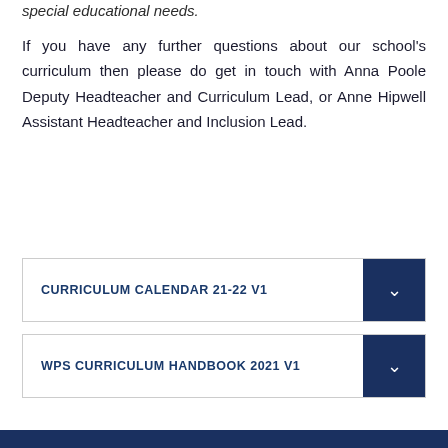special educational needs.
If you have any further questions about our school's curriculum then please do get in touch with Anna Poole Deputy Headteacher and Curriculum Lead, or Anne Hipwell Assistant Headteacher and Inclusion Lead.
CURRICULUM CALENDAR 21-22 V1
WPS CURRICULUM HANDBOOK 2021 V1